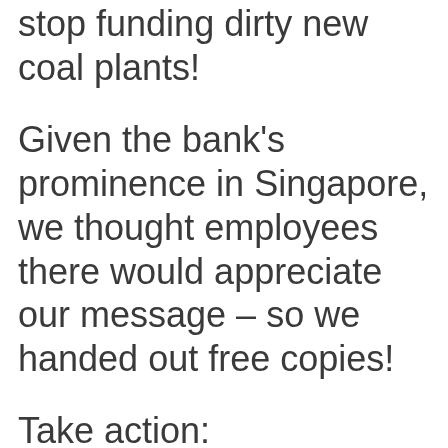stop funding dirty new coal plants!
Given the bank's prominence in Singapore, we thought employees there would appreciate our message – so we handed out free copies!
Take action:
https://t.co/zMgVahfarR
pic.twitter.com/XeAUzWhI8A
— Market Forces
(@market_forces) August 22…